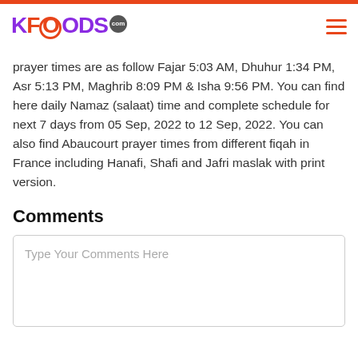KFOODS.com
prayer times are as follow Fajar 5:03 AM, Dhuhur 1:34 PM, Asr 5:13 PM, Maghrib 8:09 PM & Isha 9:56 PM. You can find here daily Namaz (salaat) time and complete schedule for next 7 days from 05 Sep, 2022 to 12 Sep, 2022. You can also find Abaucourt prayer times from different fiqah in France including Hanafi, Shafi and Jafri maslak with print version.
Comments
Type Your Comments Here